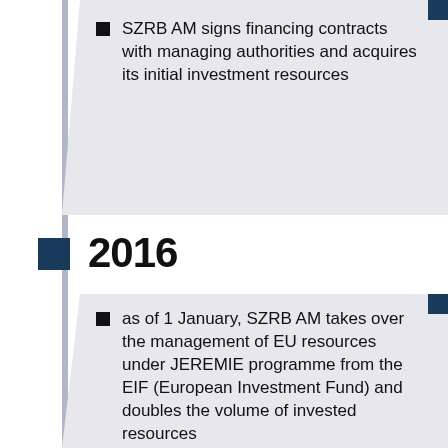SZRB AM signs financing contracts with managing authorities and acquires its initial investment resources
2016
as of 1 January, SZRB AM takes over the management of EU resources under JEREMIE programme from the EIF (European Investment Fund) and doubles the volume of invested resources
SZRB AM concludes its first ever investment, in the D4R7 motorway project. The project subsequently receives the [European PPP Award of the Year]